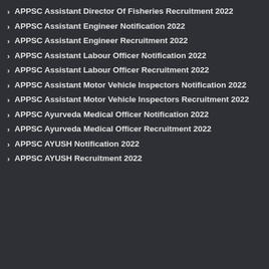APPSC Assistant Director Of Fisheries Recruitment 2022
APPSC Assistant Engineer Notification 2022
APPSC Assistant Engineer Recruitment 2022
APPSC Assistant Labour Officer Notification 2022
APPSC Assistant Labour Officer Recruitment 2022
APPSC Assistant Motor Vehicle Inspectors Notification 2022
APPSC Assistant Motor Vehicle Inspectors Recruitment 2022
APPSC Ayurveda Medical Officer Notification 2022
APPSC Ayurveda Medical Officer Recruitment 2022
APPSC AYUSH Notification 2022
APPSC AYUSH Recruitment 2022